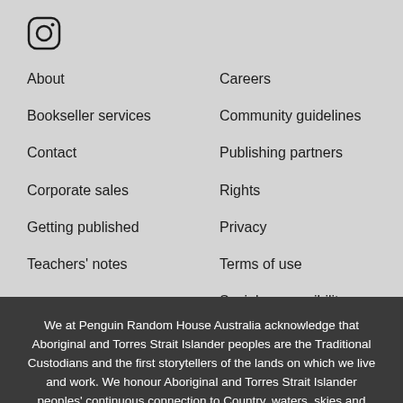[Figure (logo): Instagram icon — circular camera outline]
About
Bookseller services
Contact
Corporate sales
Getting published
Teachers' notes
Careers
Community guidelines
Publishing partners
Rights
Privacy
Terms of use
Social responsibility
Newsletters
We at Penguin Random House Australia acknowledge that Aboriginal and Torres Strait Islander peoples are the Traditional Custodians and the first storytellers of the lands on which we live and work. We honour Aboriginal and Torres Strait Islander peoples' continuous connection to Country, waters, skies and